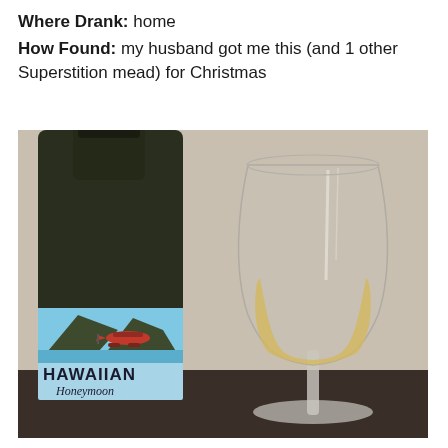Where Drank: home
How Found: my husband got me this (and 1 other Superstition mead) for Christmas
[Figure (photo): A dark glass wine bottle with a colorful label reading 'HAWAIIAN Honeymoon' featuring tropical island imagery with a red seaplane, next to a stemmed snifter glass containing a pale golden liquid (mead), set on a dark table against a beige wall.]